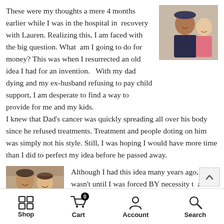These were my thoughts a mere 4 months earlier while I was in the hospital in recovery with Lauren. Realizing this, I am faced with the big question. What am I going to do for money? This was when I resurrected an old idea I had for an invention. With my dad dying and my ex-husband refusing to pay child support, I am desperate to find a way to provide for me and my kids. I knew that Dad's cancer was quickly spreading all over his body since he refused treatments. Treatment and people doting on him was simply not his style. Still, I was hoping I would have more time than I did to perfect my idea before he passed away.
[Figure (photo): A man and a young girl posing together, smiling for the photo.]
[Figure (photo): Two people posing together in what appears to be an indoor setting.]
Although I had this idea many years ago, it wasn't until I was forced BY necessity that made me pull all my thoughts together.
Shop   Cart 0   Account   Search